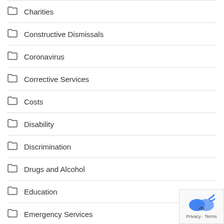Charities
Constructive Dismissals
Coronavirus
Corrective Services
Costs
Disability
Discrimination
Drugs and Alcohol
Education
Emergency Services
Fair Work Commission